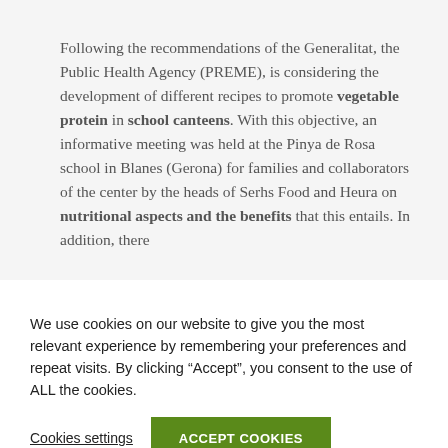Following the recommendations of the Generalitat, the Public Health Agency (PREME), is considering the development of different recipes to promote vegetable protein in school canteens. With this objective, an informative meeting was held at the Pinya de Rosa school in Blanes (Gerona) for families and collaborators of the center by the heads of Serhs Food and Heura on nutritional aspects and the benefits that this entails. In addition, there
We use cookies on our website to give you the most relevant experience by remembering your preferences and repeat visits. By clicking “Accept”, you consent to the use of ALL the cookies.
Cookies settings
ACCEPT COOKIES